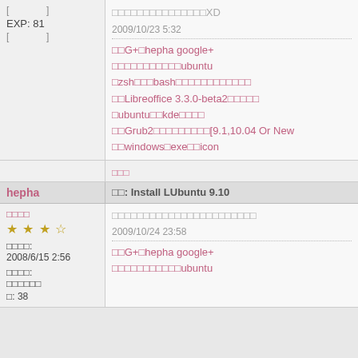[ ]
EXP: 81
[ ]
□□□□□□□□□□□□□□□XD
2009/10/23 5:32
□□G+□hepha google+
□□□□□□□□□□□ubuntu
□zsh□□□bash□□□□□□□□□□□□
□□Libreoffice 3.3.0-beta2□□□□□
□ubuntu□□kde□□□□
□□Grub2□□□□□□□□□[9.1,10.04 Or New
□□windows□exe□□icon
□□□
hepha
□□: Install LUbuntu 9.10
□□□□
★★★☆
□□□□□□□□□□□□□□□□□□□□□□
2009/10/24 23:58
□□□□:
2008/6/15 2:56
□□□□:
□□□□□□
□□G+□hepha google+
□□□□□□□□□□□ubuntu